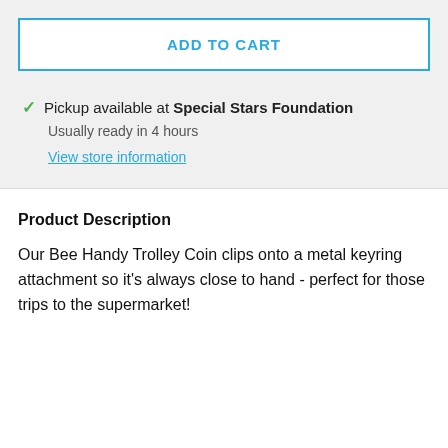ADD TO CART
Pickup available at Special Stars Foundation
Usually ready in 4 hours
View store information
Product Description
Our Bee Handy Trolley Coin clips onto a metal keyring attachment so it's always close to hand - perfect for those trips to the supermarket!